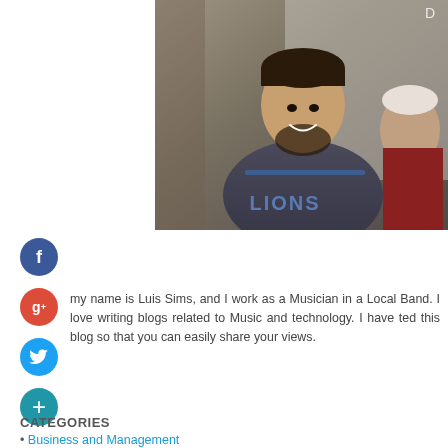[Figure (photo): Profile photo of a young man wearing a Detroit Lions hoodie, smiling, with another person partially visible on the right, taken outdoors on a porch.]
my name is Luis Sims, and I work as a Musician in a Local Band. I love writing blogs related to Music and technology. I have ted this blog so that you can easily share your views.
CATEGORIES
Business and Management
Education